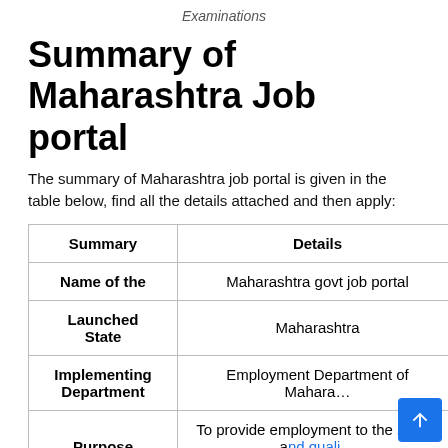Examinations
Summary of Maharashtra Job portal
The summary of Maharashtra job portal is given in the table below, find all the details attached and then apply:
| Summary | Details |
| --- | --- |
| Name of the | Maharashtra govt job portal |
| Launched State | Maharashtra |
| Implementing Department | Employment Department of Maharashtra |
| Purpose | To provide employment to the skilled and qualified youth of the state |